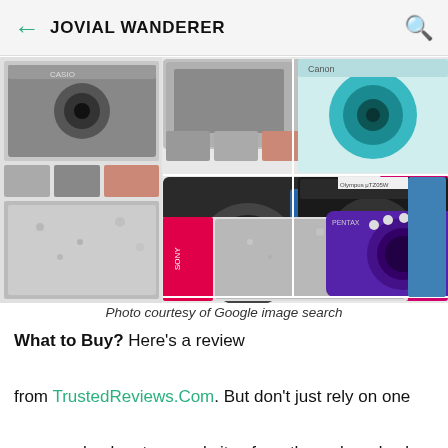JOVIAL WANDERER
[Figure (photo): Collage of various compact digital cameras including Canon, Sony, Samsung, Pentax, Olympus and other brands in different colors - pink, blue, black, teal, silver, purple]
Photo courtesy of Google image search
What to Buy? Here's a review from TrustedReviews.Com. But don't just rely on one source, check out several sites from the web and ask users. :) I currently using an old model from Olympus - 790 SW. It's reliable and hasn't given up on me yet